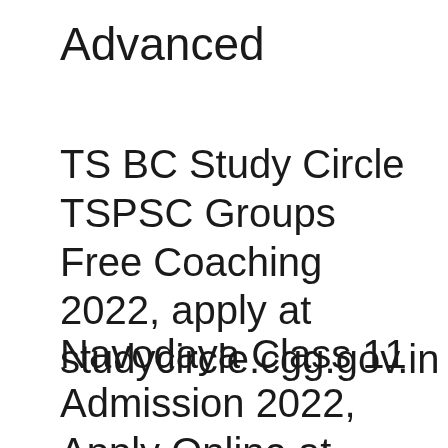Advanced
TS BC Study Circle TSPSC Groups Free Coaching 2022, apply at studycircle.cgg.gov.in
Navodaya Class 11 Admission 2022, Apply Online at